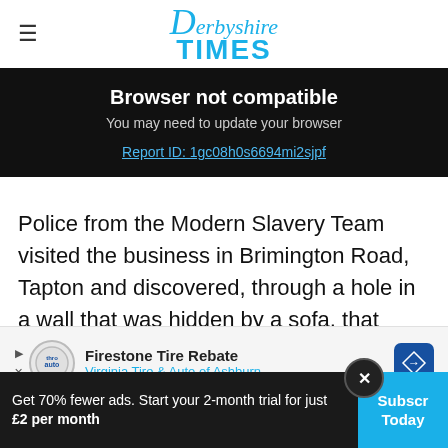Derbyshire Times
Browser not compatible
You may need to update your browser
Report ID: 1gc08h0s6694mi2sjpf
Police from the Modern Slavery Team visited the business in Brimington Road, Tapton and discovered, through a hole in a wall that was hidden by a sofa, that there were mattresses and airbeds along with food and suitcases.
[Figure (screenshot): Advertisement banner: Firestone Tire Rebate, Virginia Tire & Auto of Ashburn]
Get 70% fewer ads. Start your 2-month trial for just £2 per month
Subscribe Today